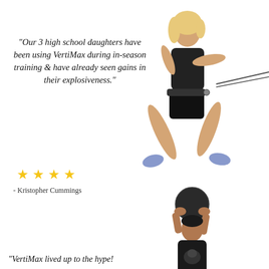[Figure (photo): Athlete woman jumping while using VertiMax resistance training equipment, wearing black sports outfit, viewed against white background]
"Our 3 high school daughters have been using VertiMax during in-season training & have already seen gains in their explosiveness."
★ ★ ★ ★
- Kristopher Cummings
[Figure (photo): Young athlete holding a medicine ball overhead, wearing a dark t-shirt, against white background]
"VertiMax lived up to the hype!